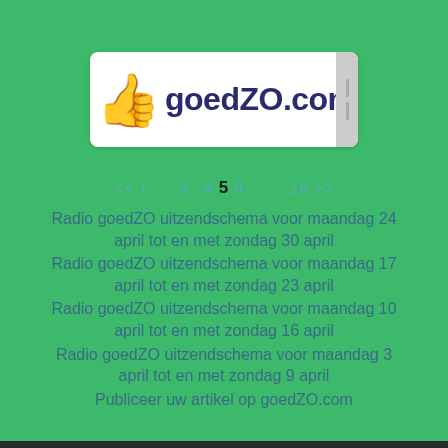[Figure (logo): goedZO.com logo with thumbs up emoji on white rounded banner]
<< 1 .....3...4 5 6.... ... 18 >>
Radio goedZO uitzendschema voor maandag 24 april tot en met zondag 30 april
Radio goedZO uitzendschema voor maandag 17 april tot en met zondag 23 april
Radio goedZO uitzendschema voor maandag 10 april tot en met zondag 16 april
Radio goedZO uitzendschema voor maandag 3 april tot en met zondag 9 april
Publiceer uw artikel op goedZO.com